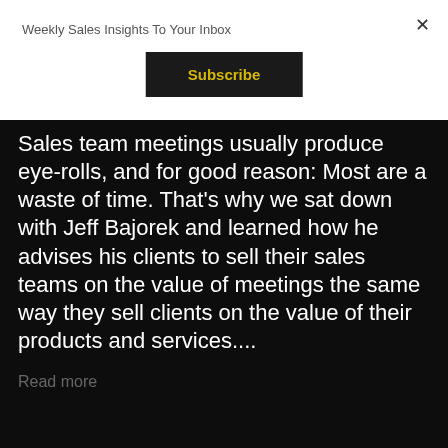Weekly Sales Insights To Your Inbox
×
Subscribe
Sales team meetings usually produce eye-rolls, and for good reason: Most are a waste of time. That's why we sat down with Jeff Bajorek and learned how he advises his clients to sell their sales teams on the value of meetings the same way they sell clients on the value of their products and services....
Read more